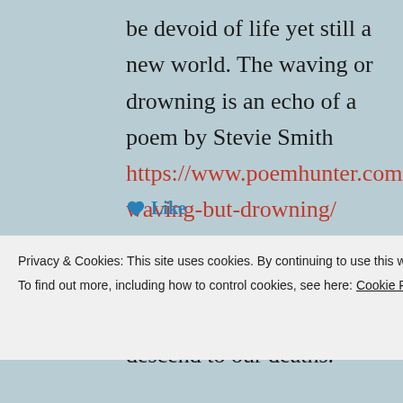be devoid of life yet still a new world. The waving or drowning is an echo of a poem by Stevie Smith https://www.poemhunter.com/poem/not-waving-but-drowning/ How we can seem to be happy and having fun but in fact we are able to descend to our deaths.
Privacy & Cookies: This site uses cookies. By continuing to use this website, you agree to their use.
To find out more, including how to control cookies, see here: Cookie Policy